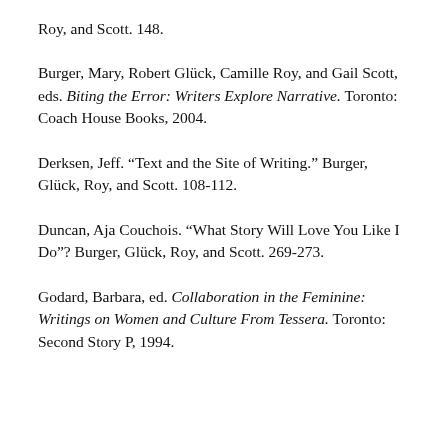Roy, and Scott. 148.
Burger, Mary, Robert Glück, Camille Roy, and Gail Scott, eds. Biting the Error: Writers Explore Narrative. Toronto: Coach House Books, 2004.
Derksen, Jeff. "Text and the Site of Writing." Burger, Glück, Roy, and Scott. 108-112.
Duncan, Aja Couchois. "What Story Will Love You Like I Do"? Burger, Glück, Roy, and Scott. 269-273.
Godard, Barbara, ed. Collaboration in the Feminine: Writings on Women and Culture From Tessera. Toronto: Second Story P, 1994.